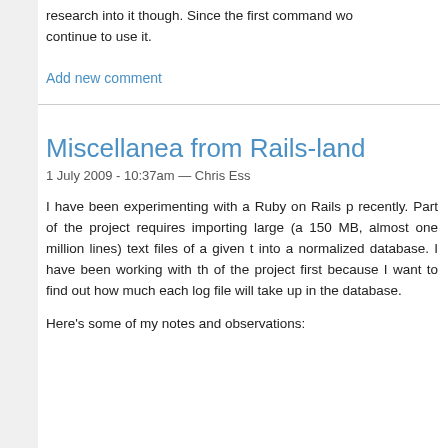research into it though. Since the first command wo... continue to use it.
Add new comment
Miscellanea from Rails-land
1 July 2009 - 10:37am — Chris Ess
I have been experimenting with a Ruby on Rails p... recently. Part of the project requires importing large (a... 150 MB, almost one million lines) text files of a given t... into a normalized database. I have been working with th... of the project first because I want to find out how much ... each log file will take up in the database.
Here's some of my notes and observations: